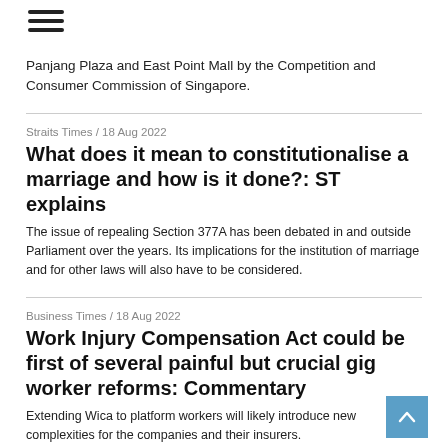Panjang Plaza and East Point Mall by the Competition and Consumer Commission of Singapore.
Straits Times / 18 Aug 2022
What does it mean to constitutionalise a marriage and how is it done?: ST explains
The issue of repealing Section 377A has been debated in and outside Parliament over the years. Its implications for the institution of marriage and for other laws will also have to be considered.
Business Times / 18 Aug 2022
Work Injury Compensation Act could be first of several painful but crucial gig worker reforms: Commentary
Extending Wica to platform workers will likely introduce new complexities for the companies and their insurers.